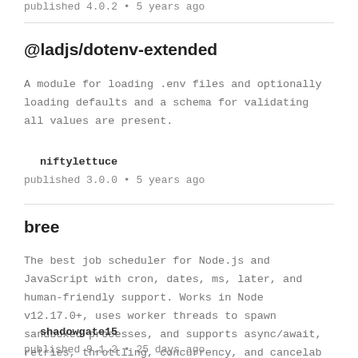published 4.0.2 • 5 years ago
@ladjs/dotenv-extended
A module for loading .env files and optionally loading defaults and a schema for validating all values are present.
niftylettuce
published 3.0.0 • 5 years ago
bree
The best job scheduler for Node.js and JavaScript with cron, dates, ms, later, and human-friendly support. Works in Node v12.17.0+, uses worker threads to spawn sandboxed processes, and supports async/await, retries, throttling, concurrency, and cancelab
shadowgate15
published 9.1.2 • 25 days ago